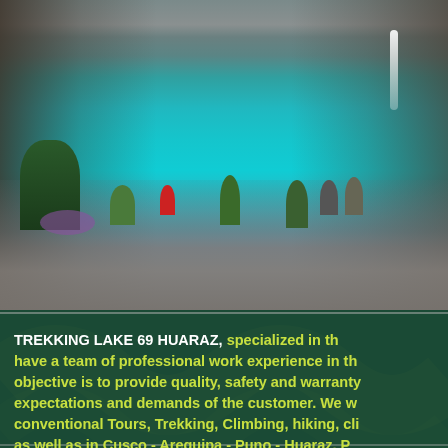[Figure (photo): A stunning high-altitude mountain lake with vivid turquoise water (Lake 69 near Huaraz, Peru). Rocky mountains rise on both sides. Hikers sit on the rocky shore in the foreground. Trees, shrubs and purple wildflowers are visible on the left bank. A waterfall cascades down the right cliff face in the background.]
TREKKING LAKE 69 HUARAZ, specialized in th... have a team of professional work experience in th... objective is to provide quality, safety and warranty... expectations and demands of the customer. We w... conventional Tours, Trekking, Climbing, hiking, cli... as well as in Cusco - Arequipa - Puno - Huaraz, P...